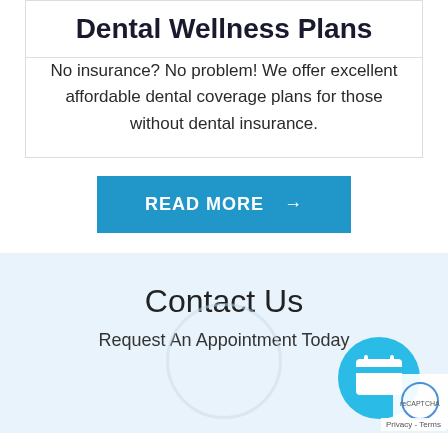Dental Wellness Plans
No insurance? No problem! We offer excellent affordable dental coverage plans for those without dental insurance.
READ MORE →
Contact Us
Request An Appointment Today
Privacy - Terms